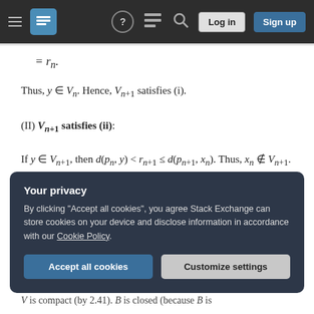Stack Exchange navigation bar with hamburger menu, logo, help, chat, search icons, Log in and Sign up buttons
Thus, y ∈ V_n. Hence, V_{n+1} satisfies (i).
(II) V_{n+1} satisfies (ii):
If y ∈ V_{n+1}, then d(p_n, y) < r_{n+1} ≤ d(p_{n+1}, x_n). Thus, x_n ∉ V_{n+1}. Hence, V_{n+1} satisfies (ii).
(III) V_{n+1} satisfies (iii):
Your privacy — By clicking "Accept all cookies", you agree Stack Exchange can store cookies on your device and disclose information in accordance with our Cookie Policy. [Accept all cookies] [Customize settings]
V_ is compact (by 2.41). B is closed (because B is